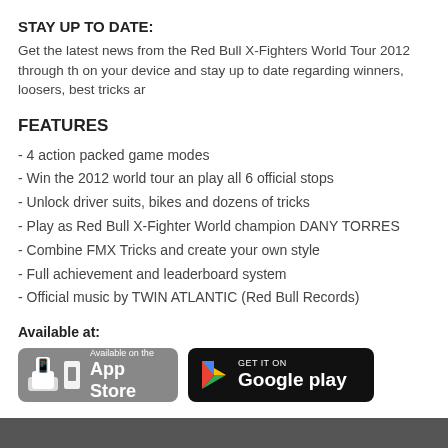STAY UP TO DATE:
Get the latest news from the Red Bull X-Fighters World Tour 2012 through th on your device and stay up to date regarding winners, loosers, best tricks ar
FEATURES
- 4 action packed game modes
- Win the 2012 world tour an play all 6 official stops
- Unlock driver suits, bikes and dozens of tricks
- Play as Red Bull X-Fighter World champion DANY TORRES
- Combine FMX Tricks and create your own style
- Full achievement and leaderboard system
- Official music by TWIN ATLANTIC (Red Bull Records)
Available at:
[Figure (logo): Available on the App Store badge (grey rounded rectangle)]
[Figure (logo): Get it on Google Play badge (black rounded rectangle)]
Mystique theme by digitalnature | Powe RSS FEEDS XHTML 1.